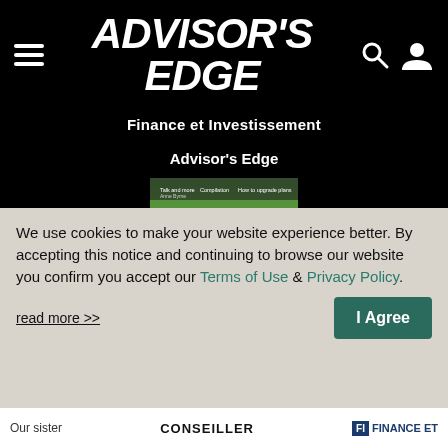ADVISOR'S EDGE
Finance et Investissement
Advisor's Edge
[Figure (illustration): Advisor's Edge magazine cover featuring 'ESG - Greening portfolios' with wind turbines on a green and orange gradient background]
We use cookies to make your website experience better. By accepting this notice and continuing to browse our website you confirm you accept our Terms of Use & Privacy Policy.
read more >>
I Agree
Our sister    CONSEILLER    FINANCE ET